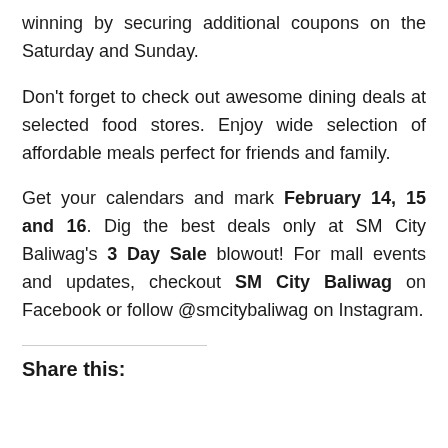winning by securing additional coupons on the Saturday and Sunday.
Don't forget to check out awesome dining deals at selected food stores. Enjoy wide selection of affordable meals perfect for friends and family.
Get your calendars and mark February 14, 15 and 16. Dig the best deals only at SM City Baliwag's 3 Day Sale blowout! For mall events and updates, checkout SM City Baliwag on Facebook or follow @smcitybaliwag on Instagram.
Share this: